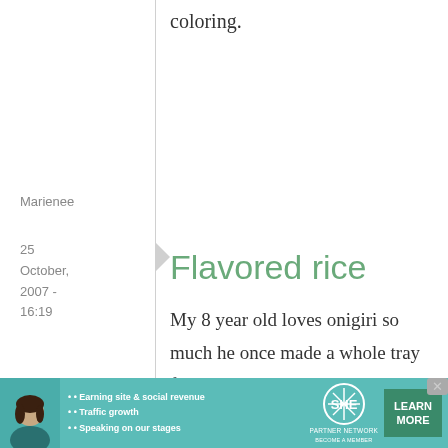coloring.
Marienee
25 October, 2007 - 16:19
permalink
Flavored rice
My 8 year old loves onigiri so much he once made a whole tray full and took enough to school to feed his friends -- though they were smaller, the size
[Figure (infographic): SHE Partner Network advertisement banner with woman photo, bullet points about earning site & social revenue, traffic growth, speaking on stages, SHE logo, and Learn More button]